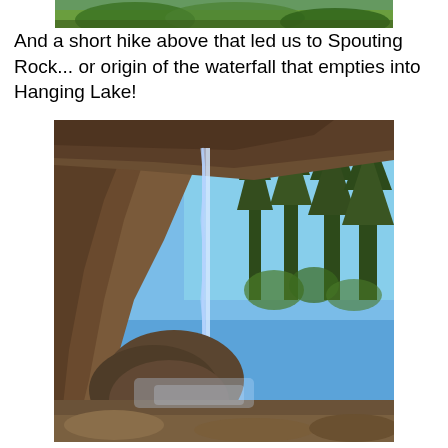[Figure (photo): Top portion of a nature scene showing green trees and water at the top of the page (partial/cropped)]
And a short hike above that led us to Spouting Rock... or origin of the waterfall that empties into Hanging Lake!
[Figure (photo): Photo of Spouting Rock waterfall: view from behind/beside a rock overhang, water falling in front, tall evergreen pine trees visible in background against a bright blue sky, rocky terrain below.]